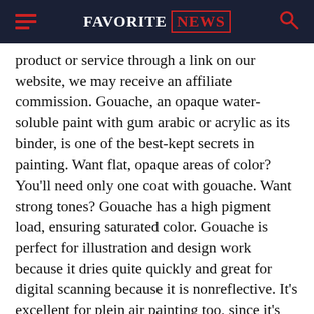FAVORITE NEWS
product or service through a link on our website, we may receive an affiliate commission. Gouache, an opaque water-soluble paint with gum arabic or acrylic as its binder, is one of the best-kept secrets in painting. Want flat, opaque areas of color? You’ll need only one coat with gouache. Want strong tones? Gouache has a high pigment load, ensuring saturated color. Gouache is perfect for illustration and design work because it dries quite quickly and great for digital scanning because it is nonreflective. It’s excellent for plein air painting too, since it’s both portable and easy to clean up. Traditional gouache paints may be reactivated with water after they dry, but note that those made with acrylic binders cannot. All